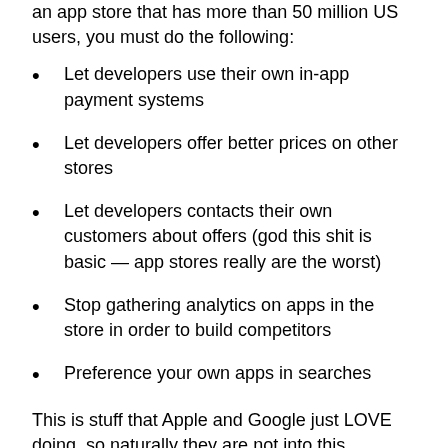an app store that has more than 50 million US users, you must do the following:
Let developers use their own in-app payment systems
Let developers offer better prices on other stores
Let developers contacts their own customers about offers (god this shit is basic — app stores really are the worst)
Stop gathering analytics on apps in the store in order to build competitors
Preference your own apps in searches
This is stuff that Apple and Google just LOVE doing, so naturally they are not into this proposed legislation, and will probably lobby the shit out of it. Not at all